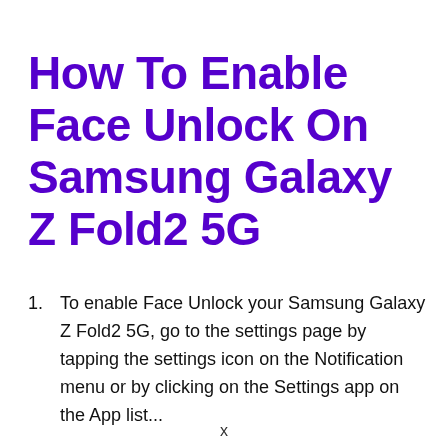How To Enable Face Unlock On Samsung Galaxy Z Fold2 5G
To enable Face Unlock your Samsung Galaxy Z Fold2 5G, go to the settings page by tapping the settings icon on the Notification menu or by clicking on the Settings app on the App list...